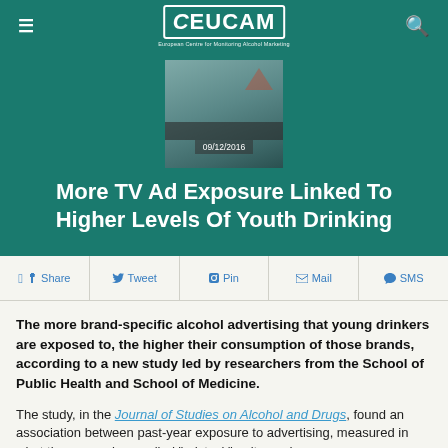CEUCAM — European Centre for Monitoring Alcohol Marketing
[Figure (screenshot): Blurred/blued image of a person near a TV or screen, with date overlay 09/12/2016]
More TV Ad Exposure Linked To Higher Levels Of Youth Drinking
f Share  Tweet  Pin  Mail  SMS
The more brand-specific alcohol advertising that young drinkers are exposed to, the higher their consumption of those brands, according to a new study led by researchers from the School of Public Health and School of Medicine.
The study, in the Journal of Studies on Alcohol and Drugs, found an association between past-year exposure to advertising, measured in what the researchers called "adstock" units, and